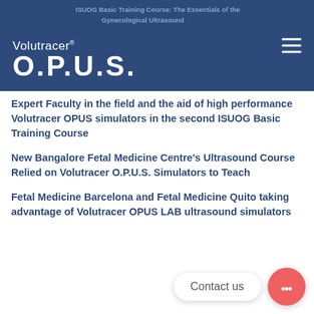ISUOG Basic Training Course: The Essentials of the Gynecological Ultrasound
[Figure (logo): Volutracer O.P.U.S. logo in white on dark blue background with hamburger menu icon]
Expert Faculty in the field and the aid of high performance Volutracer OPUS simulators in the second ISUOG Basic Training Course
New Bangalore Fetal Medicine Centre's Ultrasound Course Relied on Volutracer O.P.U.S. Simulators to Teach
Fetal Medicine Barcelona and Fetal Medicine Quito taking advantage of Volutracer OPUS LAB ultrasound simulators
Contact us